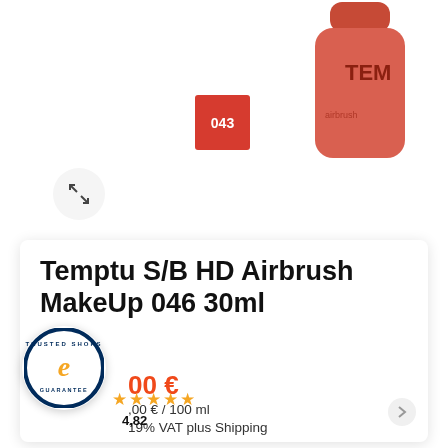[Figure (photo): Product photo of Temptu S/B HD Airbrush MakeUp bottle in coral/salmon color with a red color swatch labeled 043]
Temptu S/B HD Airbrush MakeUp 046 30ml
00 €
,00 € / 100 ml
19% VAT plus Shipping
Guava 046 – TEMPTU S/B Airbrush Make-up is a
[Figure (logo): Trusted Shops guarantee badge with gold 'e' logo and star rating 4.82]